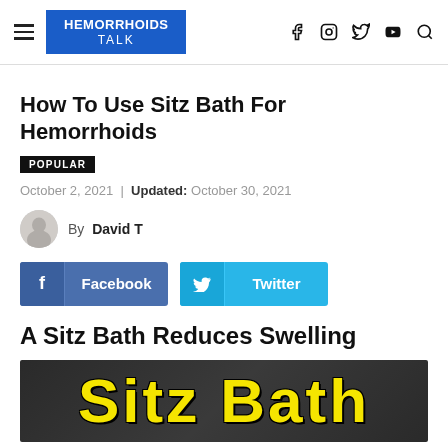HEMORRHOIDS TALK
How To Use Sitz Bath For Hemorrhoids
POPULAR
October 2, 2021 | Updated: October 30, 2021
By David T
Facebook  Twitter
A Sitz Bath Reduces Swelling
[Figure (photo): Image with bold yellow text reading 'Sitz Bath' on a dark background]